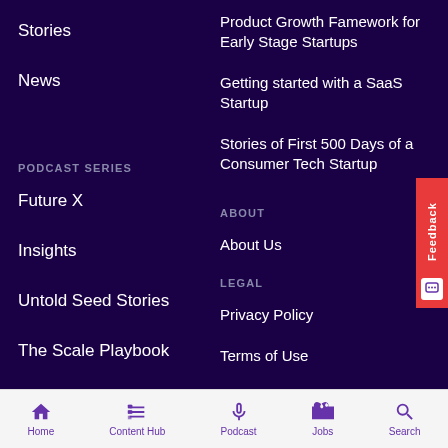Stories
News
Product Growth Famework for Early Stage Startups
Getting started with a SaaS Startup
Stories of First 500 Days of a Consumer Tech Startup
PODCAST SERIES
Future X
Insights
Untold Seed Stories
The Scale Playbook
Grit Stories
ABOUT
About Us
LEGAL
Privacy Policy
Terms of Use
Home | Content Hub | Podcast | Jobs | Search